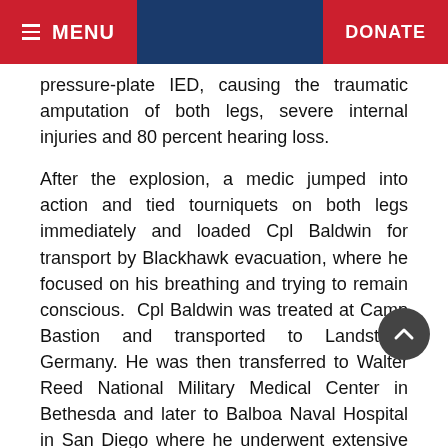≡ MENU    DONATE
pressure-plate IED, causing the traumatic amputation of both legs, severe internal injuries and 80 percent hearing loss.
After the explosion, a medic jumped into action and tied tourniquets on both legs immediately and loaded Cpl Baldwin for transport by Blackhawk evacuation, where he focused on his breathing and trying to remain conscious. Cpl Baldwin was treated at Camp Bastion and transported to Landstuhl, Germany. He was then transferred to Walter Reed National Military Medical Center in Bethesda and later to Balboa Naval Hospital in San Diego where he underwent extensive rehabilitation therapies for nearly two years. Cpl Baldwin's brother, Bruce, has stayed with Phillip during his recovery. Both of Cpl Baldwin's brothers Alan and Bruce also serve in the Marines.
Cpl Baldwin continues to be actively engaged in his community and often speaks at local elementary schools